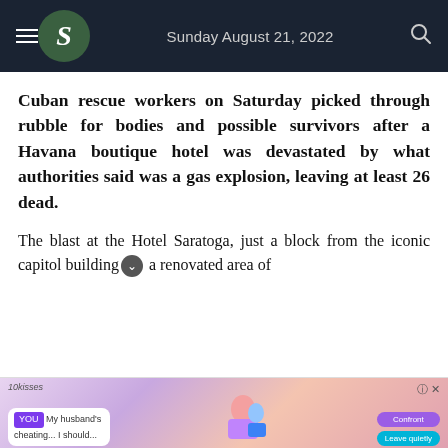Sunday August 21, 2022
Cuban rescue workers on Saturday picked through rubble for bodies and possible survivors after a Havana boutique hotel was devastated by what authorities said was a gas explosion, leaving at least 26 dead.
The blast at the Hotel Saratoga, just a block from the iconic capitol building, a renovated area of
[Figure (screenshot): Advertisement banner at bottom showing a mobile game ad with chat bubble text 'My husband's cheating... I should...' and options 'Confront' and 'Leave quietly']